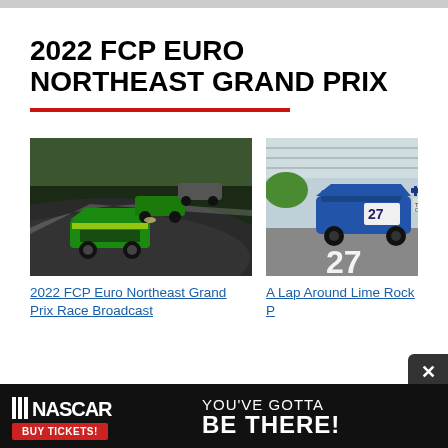2022 FCP EURO NORTHEAST GRAND PRIX
[Figure (photo): Green Lamborghini race cars navigating a track curve at the 2022 FCP Euro Northeast Grand Prix]
[Figure (photo): Blue race car #27 on track at Lime Rock Park]
2022 FCP Euro Northeast Grand Prix Race Broadcast
A Lap Around Lime Rock P
[Figure (infographic): NASCAR advertisement: NASCAR logo with BUY TICKETS button, text YOU'VE GOTTA BE THERE!]